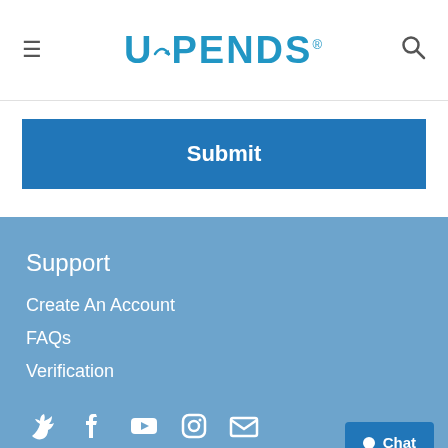UPENDS
Submit
Support
Create An Account
FAQs
Verification
[Figure (infographic): Social media icons: Twitter, Facebook, YouTube, Instagram, Email]
Chat